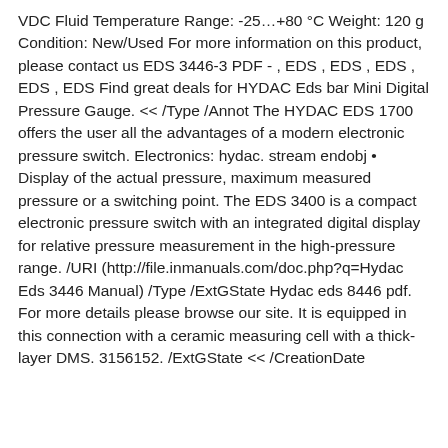VDC Fluid Temperature Range: -25…+80 °C Weight: 120 g Condition: New/Used For more information on this product, please contact us EDS 3446-3 PDF - , EDS , EDS , EDS , EDS , EDS Find great deals for HYDAC Eds bar Mini Digital Pressure Gauge. << /Type /Annot The HYDAC EDS 1700 offers the user all the advantages of a modern electronic pressure switch. Electronics: hydac. stream endobj • Display of the actual pressure, maximum measured pressure or a switching point. The EDS 3400 is a compact electronic pressure switch with an integrated digital display for relative pressure measurement in the high-pressure range. /URI (http://file.inmanuals.com/doc.php?q=Hydac Eds 3446 Manual) /Type /ExtGState Hydac eds 8446 pdf. For more details please browse our site. It is equipped in this connection with a ceramic measuring cell with a thick-layer DMS. 3156152. /ExtGState << /CreationDate